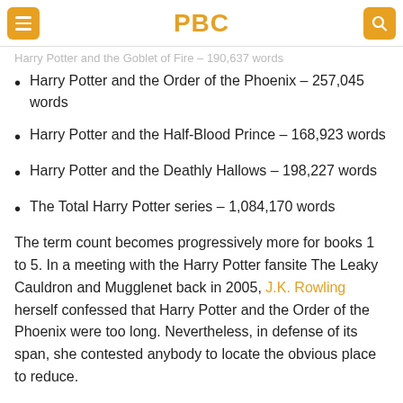PBC
Harry Potter and the Order of the Phoenix – 257,045 words
Harry Potter and the Half-Blood Prince – 168,923 words
Harry Potter and the Deathly Hallows – 198,227 words
The Total Harry Potter series – 1,084,170 words
The term count becomes progressively more for books 1 to 5. In a meeting with the Harry Potter fansite The Leaky Cauldron and Mugglenet back in 2005, J.K. Rowling herself confessed that Harry Potter and the Order of the Phoenix were too long. Nevertheless, in defense of its span, she contested anybody to locate the obvious place to reduce.
The very first book Harry Potter and the Sorcerer's Stone